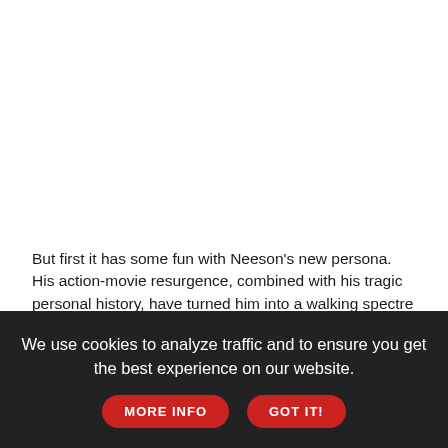But first it has some fun with Neeson's new persona. His action-movie resurgence, combined with his tragic personal history, have turned him into a walking spectre of regret -- the ghost of badasses past. He's the only action-star who can convince you he feels bad every time he pulls the trigger. Here he plays Jimmy the gravedigger, a washed up hitman wracked with guilt for kills past. He drunkenly hangs around his Boss Shawn (Ed Harris) as he waits to die, boring...
We use cookies to analyze traffic and to ensure you get the best experience on our website.